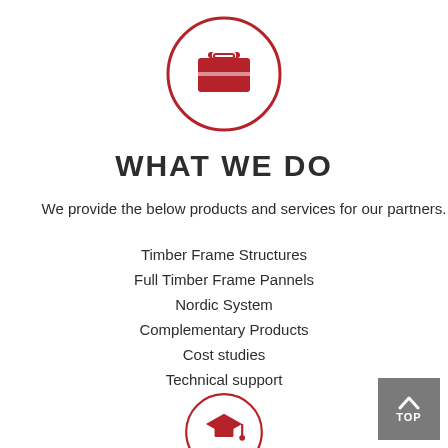[Figure (illustration): Red circle outline with a red briefcase/toolbox icon in the center]
WHAT WE DO
We provide the below products and services for our partners.
Timber Frame Structures
Full Timber Frame Pannels
Nordic System
Complementary Products
Cost studies
Technical support
[Figure (illustration): Red circle outline with a red graduation cap icon in the center (partially visible at bottom)]